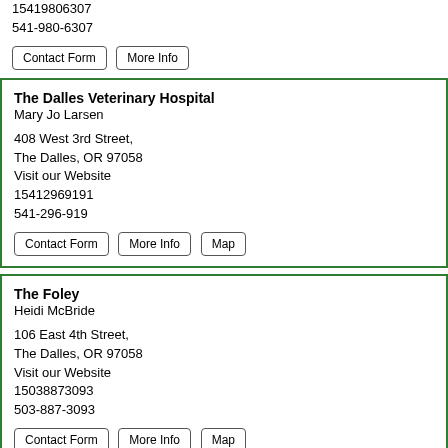15419806307
541-980-6307
Contact Form | More Info
The Dalles Veterinary Hospital
Mary Jo Larsen

408 West 3rd Street,
The Dalles, OR 97058
Visit our Website
15412969191
541-296-919
Contact Form | More Info | Map
The Foley
Heidi McBride

106 East 4th Street,
The Dalles, OR 97058
Visit our Website
15038873093
503-887-3093
Contact Form | More Info | Map
The Home Depot